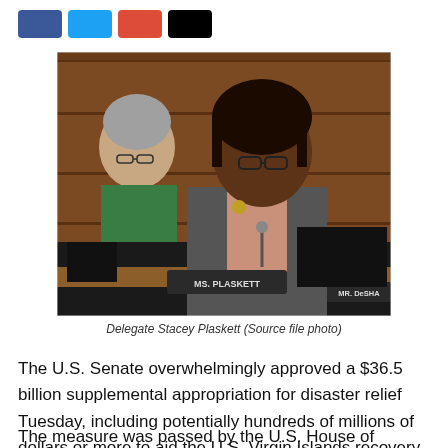[Figure (photo): Delegate Stacey Plaskett speaking at a congressional hearing, seated at a committee table with a nameplate reading 'MS. PLASKETT', another woman in a green jacket visible behind her, and wooden paneling in the background.]
Delegate Stacey Plaskett (Source file photo)
The U.S. Senate overwhelmingly approved a $36.5 billion supplemental appropriation for disaster relief Tuesday, including potentially hundreds of millions of dollars or more to aid the U.S. Virgin Islands recovery from Hurricanes Irma and Maria.
The measure was passed by the U.S. House of